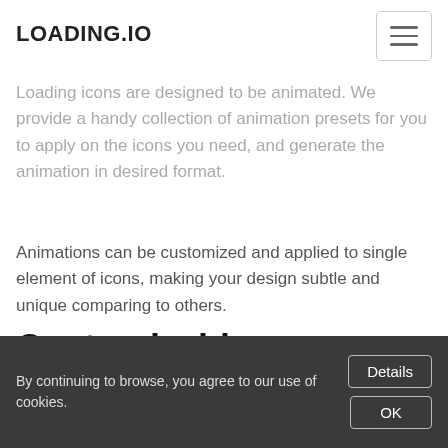LOADING.IO
Animatable
Loading icons are designed to be animated. We provide a handy collection of animation presets for you to apply on the icons you need, and generate the animation in desired format.
Animations can be customized and applied to single element of icons, making your design subtle and unique comparing to others.
Customizable
All icons we provided are customizable by colors, size as to animation types and speed. With our online icon editor
By continuing to browse, you agree to our use of cookies.